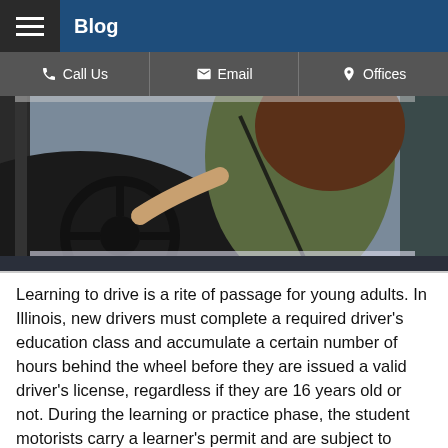Blog
[Figure (photo): Young woman with long brown hair driving a car, viewed from driver-side window, wearing a green jacket, seat belt on, hands on steering wheel]
Learning to drive is a rite of passage for young adults. In Illinois, new drivers must complete a required driver's education class and accumulate a certain number of hours behind the wheel before they are issued a valid driver's license, regardless if they are 16 years old or not. During the learning or practice phase, the student motorists carry a learner's permit and are subject to restrictions such as who can be in the vehicle with them, curfew hours, etc. As with learning how to do any activity that is new, student drivers often make